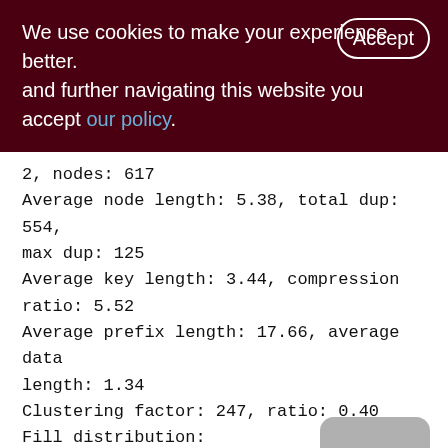We use cookies to make your experience better. By accepting and further navigating this website you accept our policy.
2, nodes: 617
Average node length: 5.38, total dup: 554, max dup: 125
Average key length: 3.44, compression ratio: 5.52
Average prefix length: 17.66, average data length: 1.34
Clustering factor: 247, ratio: 0.40
Fill distribution:
0 - 19% = 1
20 - 39% = 1
40 - 59% = 0
60 - 79% = 0